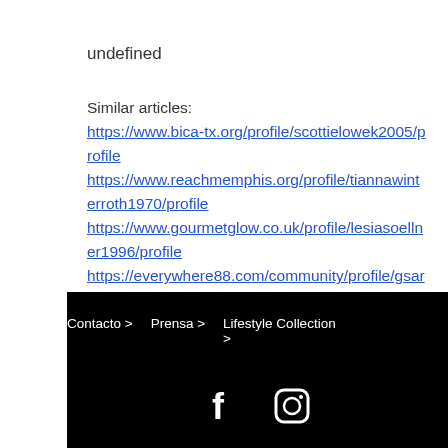undefined
Similar articles:
https://www.bica-tx.org/profile/scottielowek2005/profile
https://www.reachmemphis.org/profile/tiannawinterroth1970/profile
https://www.gourmetglow.co.uk/profile/lesiasoellner1996/profile
https://everywhere88.com/community/profile/gsarms46563185/
Contacto >   Prensa >   Lifestyle Collection >